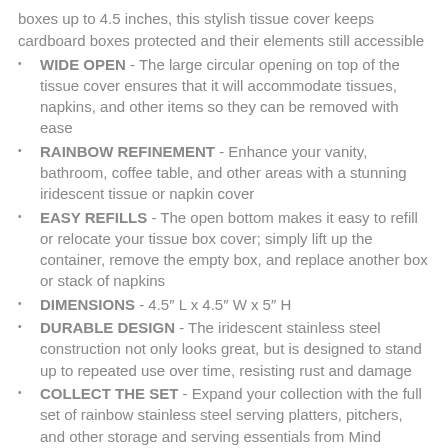boxes up to 4.5 inches, this stylish tissue cover keeps cardboard boxes protected and their elements still accessible
WIDE OPEN - The large circular opening on top of the tissue cover ensures that it will accommodate tissues, napkins, and other items so they can be removed with ease
RAINBOW REFINEMENT - Enhance your vanity, bathroom, coffee table, and other areas with a stunning iridescent tissue or napkin cover
EASY REFILLS - The open bottom makes it easy to refill or relocate your tissue box cover; simply lift up the container, remove the empty box, and replace another box or stack of napkins
DIMENSIONS - 4.5" L x 4.5" W x 5" H
DURABLE DESIGN - The iridescent stainless steel construction not only looks great, but is designed to stand up to repeated use over time, resisting rust and damage
COLLECT THE SET - Expand your collection with the full set of rainbow stainless steel serving platters, pitchers, and other storage and serving essentials from Mind Reader Products
[Figure (illustration): Social media icons: Facebook, Twitter, Pinterest in green]